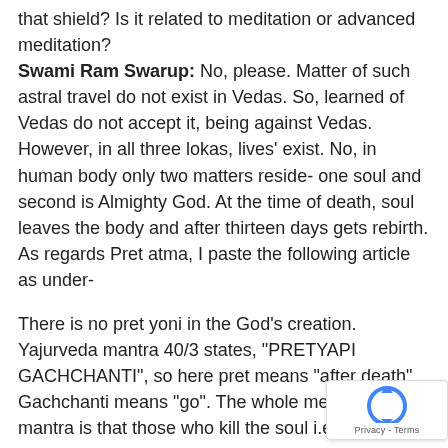that shield? Is it related to meditation or advanced meditation?
Swami Ram Swarup: No, please. Matter of such astral travel do not exist in Vedas. So, learned of Vedas do not accept it, being against Vedas. However, in all three lokas, lives' exist. No, in human body only two matters reside- one soul and second is Almighty God. At the time of death, soul leaves the body and after thirteen days gets rebirth. As regards Pret atma, I paste the following article as under-
There is no pret yoni in the God's creation. Yajurveda mantra 40/3 states, "PRETYAPI GACHCHANTI", so here pret means "after death". Gachchanti means "go". The whole meaning of the mantra is that those who kill the soul i.e., who do not listen to the inner voice of pure soul but got indulged in sins etc., they go to the lokas i.e., they take birth in bodies where knowledge can never be gained and the body will be called asur/devil. So "pret" means death and not
[Figure (other): reCAPTCHA badge with Privacy - Terms text]